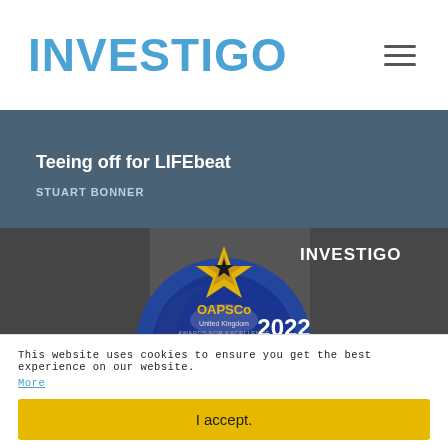INVESTIGO
[Figure (photo): Partial image of a person at the top of an article card with orange/green background text 'RAISED £']
Teeing off for LIFEbeat
STUART BONNER
[Figure (photo): OAPSCo United Kingdom Awards for Excellence 2022 Finalist – Recruitment Company Of The Year £50-250m Turnover badge/logo overlaid on a group photo, with INVESTIGO branding in top right.]
This website uses cookies to ensure you get the best experience on our website.
More
I accept.